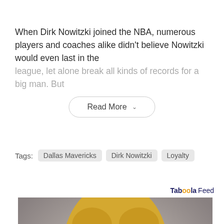When Dirk Nowitzki joined the NBA, numerous players and coaches alike didn't believe Nowitzki would even last in the league, let alone break all kinds of records for a big man. But
Read More ˅
Tags: Dallas Mavericks  Dirk Nowitzki  Loyalty
Taboola Feed
[Figure (photo): Photo of a blonde woman looking at the camera, appears to be a news/entertainment figure, cropped to show face and upper body]